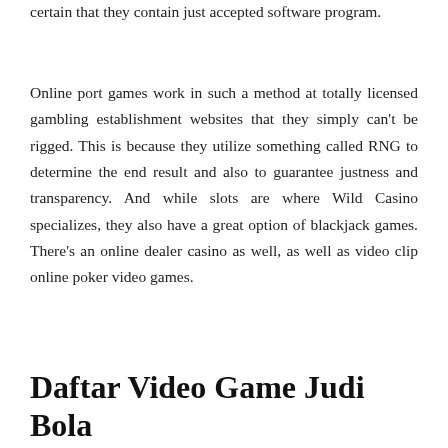certain that they contain just accepted software program.
Online port games work in such a method at totally licensed gambling establishment websites that they simply can't be rigged. This is because they utilize something called RNG to determine the end result and also to guarantee justness and transparency. And while slots are where Wild Casino specializes, they also have a great option of blackjack games. There's an online dealer casino as well, as well as video clip online poker video games.
Daftar Video Game Judi Bola On The Internet Continue...